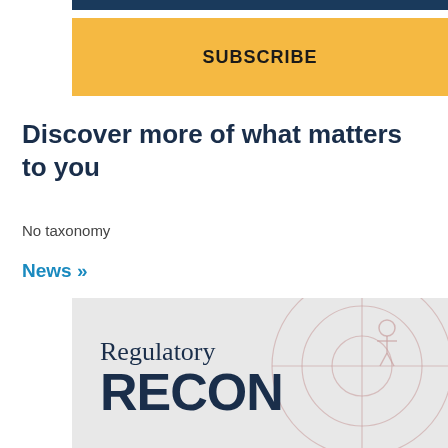[Figure (other): Dark navy colored top banner bar]
[Figure (other): Orange/gold subscribe button with bold text SUBSCRIBE]
Discover more of what matters to you
No taxonomy
News »
[Figure (logo): Regulatory RECON logo on light gray background with target/crosshair circle design in muted rose/pink]